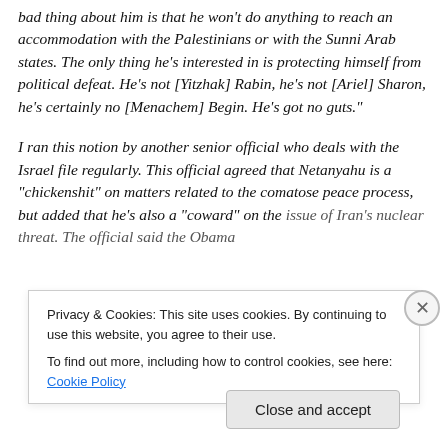bad thing about him is that he won't do anything to reach an accommodation with the Palestinians or with the Sunni Arab states. The only thing he's interested in is protecting himself from political defeat. He's not [Yitzhak] Rabin, he's not [Ariel] Sharon, he's certainly no [Menachem] Begin. He's got no guts."

I ran this notion by another senior official who deals with the Israel file regularly. This official agreed that Netanyahu is a “chickenshit” on matters related to the comatose peace process, but added that he’s also a “coward” on the issue of Iran’s nuclear threat. The official said the Obama
Privacy & Cookies: This site uses cookies. By continuing to use this website, you agree to their use.
To find out more, including how to control cookies, see here: Cookie Policy